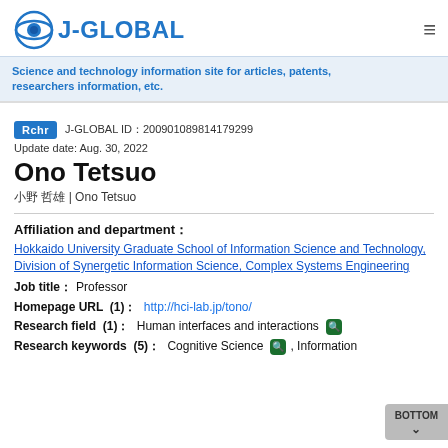[Figure (logo): J-GLOBAL logo with circular icon and text]
Science and technology information site for articles, patents, researchers information, etc.
Rchr  J-GLOBAL ID：200901089814179299
Update date: Aug. 30, 2022
Ono Tetsuo
小野 哲雄 | Ono Tetsuo
Affiliation and department：
Hokkaido University Graduate School of Information Science and Technology, Division of Synergetic Information Science, Complex Systems Engineering
Job title： Professor
Homepage URL  (1)： http://hci-lab.jp/tono/
Research field  (1)： Human interfaces and interactions
Research keywords  (5)： Cognitive Science , Information